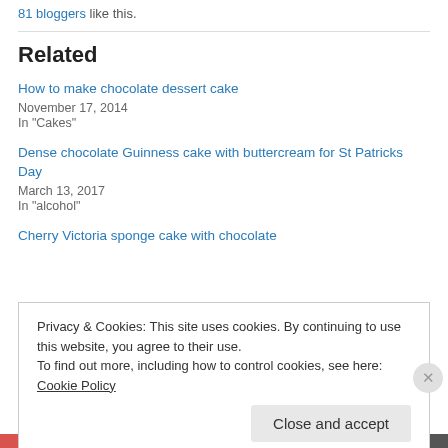81 bloggers like this.
Related
How to make chocolate dessert cake
November 17, 2014
In "Cakes"
Dense chocolate Guinness cake with buttercream for St Patricks Day
March 13, 2017
In "alcohol"
Cherry Victoria sponge cake with chocolate
Privacy & Cookies: This site uses cookies. By continuing to use this website, you agree to their use.
To find out more, including how to control cookies, see here: Cookie Policy